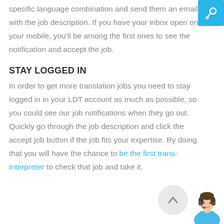specific language combination and send them an email with the job description. If you have your inbox open on your mobile, you'll be among the first ones to see the notification and accept the job.
STAY LOGGED IN
In order to get more translation jobs you need to stay logged in in your LDT account as much as possible, so you could see our job notifications when they go out. Quickly go through the job description and click the accept job button if the job fits your expertise. By doing that you will have the chance to be the first trans-interpreter to check that job and take it.